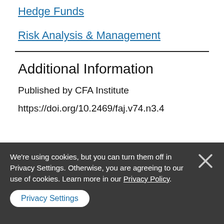Hedge Funds
Risk Analysis & Management
Additional Information
Published by CFA Institute
https://doi.org/10.2469/faj.v74.n3.4
We're using cookies, but you can turn them off in Privacy Settings. Otherwise, you are agreeing to our use of cookies. Learn more in our Privacy Policy.
Privacy Settings